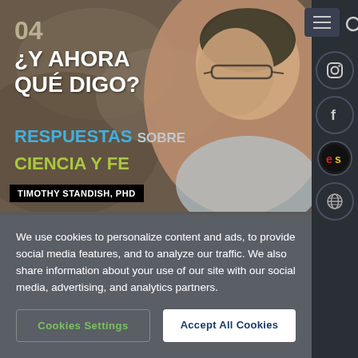[Figure (illustration): Book cover for episode 04 '¿Y Ahora Qué Digo? Respuestas sobre Ciencia y Fe' by Timothy Standish, PhD, showing a man with glasses against a rocky background]
We use cookies to personalize content and ads, to provide social media features, and to analyze our traffic. We also share information about your use of our site with our social media, advertising, and analytics partners.
Cookies Settings
Accept All Cookies